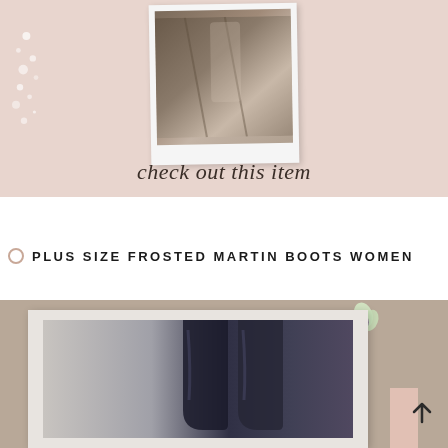[Figure (photo): Top pink background section with a polaroid-style photo showing brown/taupe fabric or clothing, with script text 'check out this item' and decorative dot splatter elements]
PLUS SIZE FROSTED MARTIN BOOTS WOMEN
[Figure (photo): Bottom tan/beige background section with a framed photo showing dark boots/footwear, with floral decoration top right, plant decoration bottom left, and pink accent rectangle]